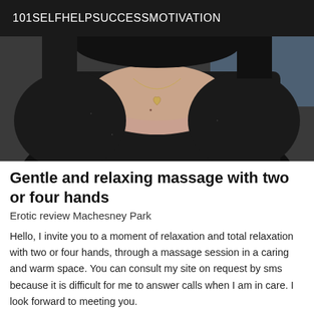101SELFHELPSUCCESSMOTIVATION
[Figure (photo): Photo of a woman wearing a black top with a heart-shaped necklace pendant, dark hair, close-up of torso and lower face area]
Gentle and relaxing massage with two or four hands
Erotic review Machesney Park
Hello, I invite you to a moment of relaxation and total relaxation with two or four hands, through a massage session in a caring and warm space. You can consult my site on request by sms because it is difficult for me to answer calls when I am in care. I look forward to meeting you.